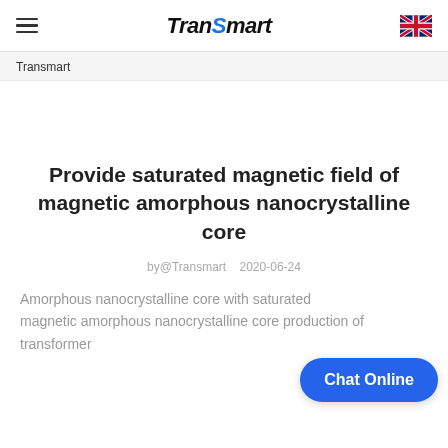Transmart (logo) | hamburger menu | UK flag
Transmart
Provide saturated magnetic field of magnetic amorphous nanocrystalline core
by@Transmart   2020-06-24
Amorphous nanocrystalline core with saturated magnetic amorphous nanocrystalline core production of transformer
[Figure (other): Chat Online button overlay]